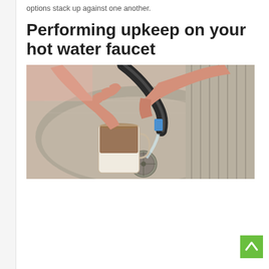options stack up against one another.
Performing upkeep on your hot water faucet
[Figure (photo): Hands filling a mug with water from a kitchen faucet over a stainless steel sink with a drain visible]
[Figure (other): Green scroll-to-top button with upward arrow]